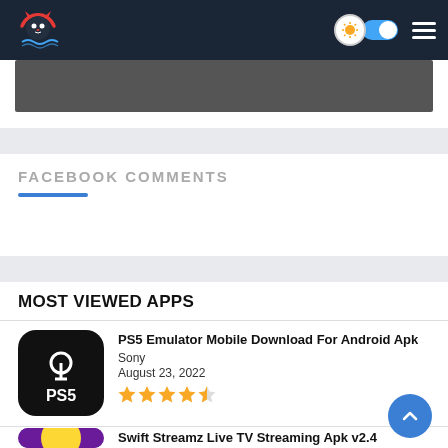Navigation bar with logo, light/dark toggle, hamburger menu
[Figure (screenshot): Dark navigation bar with cat-themed logo, sun/moon toggle switch, and hamburger menu icon]
FACEBOOK COMMENTS
MOST VIEWED APPS
PS5 Emulator Mobile Download For Android Apk
Sony
August 23, 2022
★★★★½
Swift Streamz Live TV Streaming Apk v2.4
SWIFTSTREAM